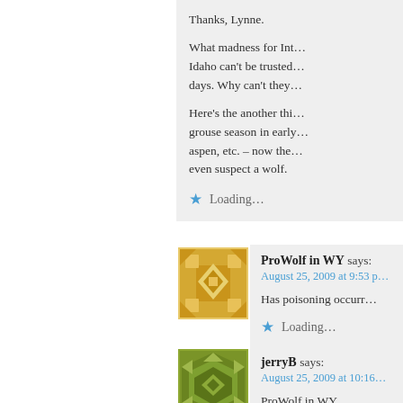Thanks, Lynne.

What madness for Int... Idaho can't be trusted... days. Why can't they...

Here's the another thi... grouse season in early... aspen, etc. – now the... even suspect a wolf.
Loading...
ProWolf in WY says:
August 25, 2009 at 9:53 p...
Has poisoning occurr...
Loading...
jerryB says:
August 25, 2009 at 10:16...
ProWolf in WY